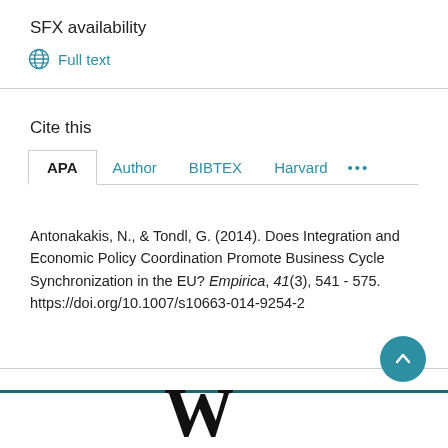SFX availability
Full text
Cite this
APA  Author  BIBTEX  Harvard  ...
Antonakakis, N., & Tondl, G. (2014). Does Integration and Economic Policy Coordination Promote Business Cycle Synchronization in the EU? Empirica, 41(3), 541 - 575. https://doi.org/10.1007/s10663-014-9254-2